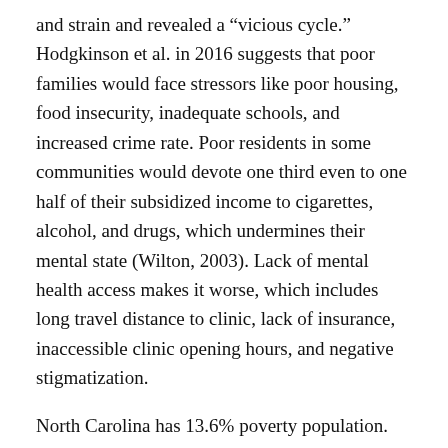and strain and revealed a “vicious cycle.” Hodgkinson et al. in 2016 suggests that poor families would face stressors like poor housing, food insecurity, inadequate schools, and increased crime rate. Poor residents in some communities would devote one third even to one half of their subsidized income to cigarettes, alcohol, and drugs, which undermines their mental state (Wilton, 2003). Lack of mental health access makes it worse, which includes long travel distance to clinic, lack of insurance, inaccessible clinic opening hours, and negative stigmatization.
North Carolina has 13.6% poverty population. Consequently, improving the problem is urgent and has several incision points like improving housing conditions, having accessible mental consulting stations, educating on quitting smoking and alcoholism. Such actions could hopefully help thousands of mentally